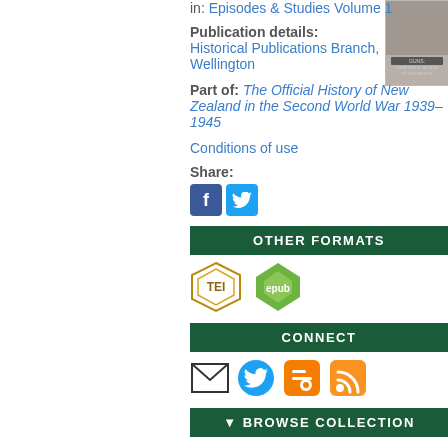[Figure (photo): Book cover thumbnail for Episodes & Studies Volume 1]
in: Episodes & Studies Volume 1
Publication details: Historical Publications Branch, Wellington
Part of: The Official History of New Zealand in the Second World War 1939–1945
Conditions of use
Share:
[Figure (infographic): Facebook and Twitter social share icons]
OTHER FORMATS
[Figure (infographic): TEI and EPUB format download icons]
CONNECT
[Figure (infographic): Email, Twitter, Blogger, and RSS connect icons]
▼  BROWSE COLLECTION
PEOPLE